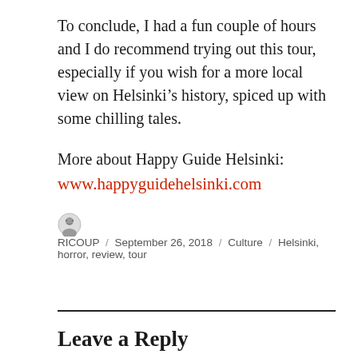To conclude, I had a fun couple of hours and I do recommend trying out this tour, especially if you wish for a more local view on Helsinki’s history, spiced up with some chilling tales.
More about Happy Guide Helsinki:
www.happyguidehelsinki.com
RICOUP / September 26, 2018 / Culture / Helsinki, horror, review, tour
Leave a Reply